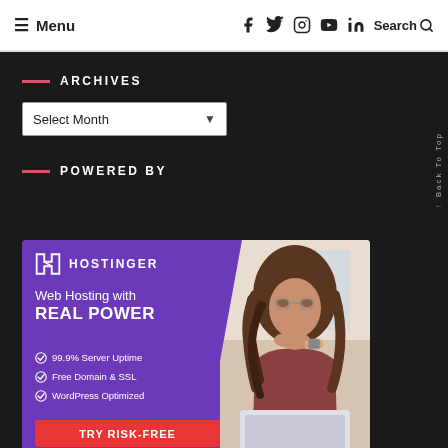≡ Menu   [social icons]   Search 🔍
ARCHIVES
Select Month ▾
POWERED BY
[Figure (infographic): Hostinger advertisement banner. Purple background with woman photo. Logo: H HOSTINGER. Tagline: Web Hosting with REAL POWER. Bullets: 99.9% Server Uptime, Free Domain & SSL, WordPress Optimized. CTA button: Try RISK-FREE]